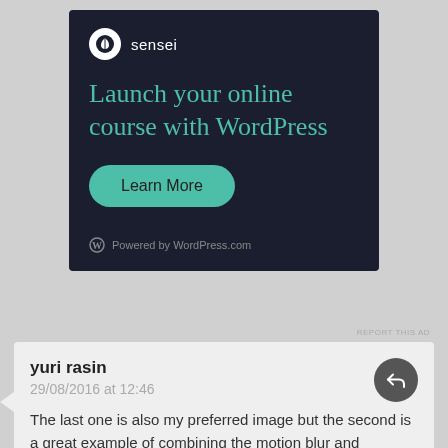[Figure (infographic): Sensei advertisement on dark background: logo with tree icon, headline 'Launch your online course with WordPress', teal 'Learn More' button, 'Powered by WordPress.com' footer]
REPORT THIS AD
yuri rasin
29/08/2016 at 12:46
The last one is also my preferred image but the second is a great example of combining the motion blur and stillness. I'd agree with you Frank and well added Brit Street.